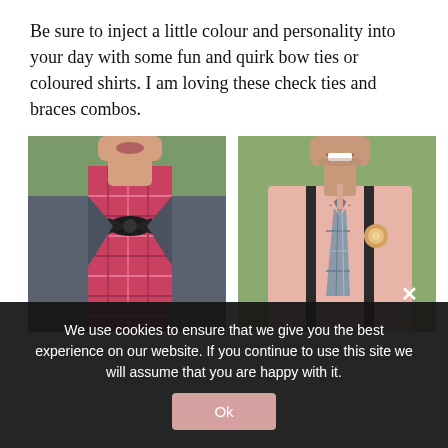Be sure to inject a little colour and personality into your day with some fun and quirk bow ties or coloured shirts. I am loving these check ties and braces combos.
[Figure (photo): Close-up of a man in a grey suit wearing a black bow tie and a red/pink plaid shirt]
[Figure (photo): Man in a pink shirt with a plaid tie, black suspenders/braces, and a boutonniere, smiling]
We use cookies to ensure that we give you the best experience on our website. If you continue to use this site we will assume that you are happy with it.